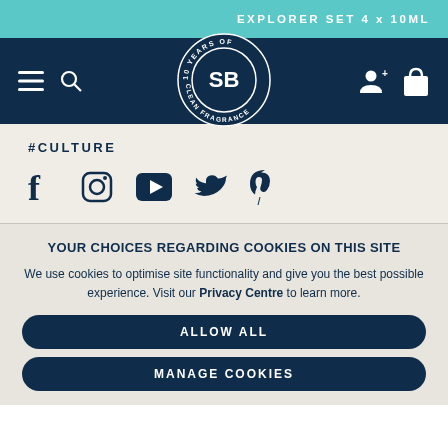EXPLORER SET 4 x 10ML
[Figure (logo): SB logo circle with text '10 YEARS OF CLEAN FRAGRANCE' around it, navy blue circular badge with SB in center]
#CULTURE
[Figure (infographic): Social media icons: Facebook, Instagram, YouTube, Twitter, Pinterest]
YOUR CHOICES REGARDING COOKIES ON THIS SITE
We use cookies to optimise site functionality and give you the best possible experience. Visit our Privacy Centre to learn more.
ALLOW ALL
MANAGE COOKIES